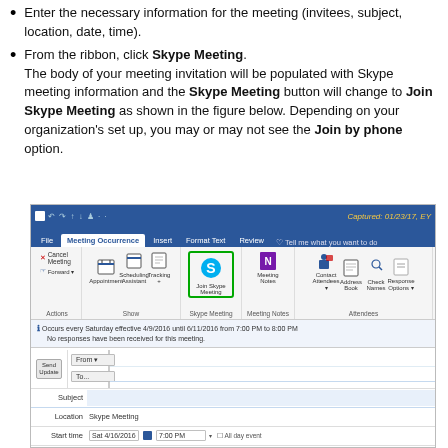Enter the necessary information for the meeting (invitees, subject, location, date, time).
From the ribbon, click Skype Meeting. The body of your meeting invitation will be populated with Skype meeting information and the Skype Meeting button will change to Join Skype Meeting as shown in the figure below. Depending on your organization’s set up, you may or may not see the Join by phone option.
[Figure (screenshot): Screenshot of Outlook ribbon showing Meeting Occurrence tab with Join Skype Meeting button highlighted in green, and a meeting form below with Location set to Skype Meeting, Start time Sat 4/16/2016 7:00 PM, End time Sat 4/16/2016 8:00 PM. Captured: 01/23/17, EY]